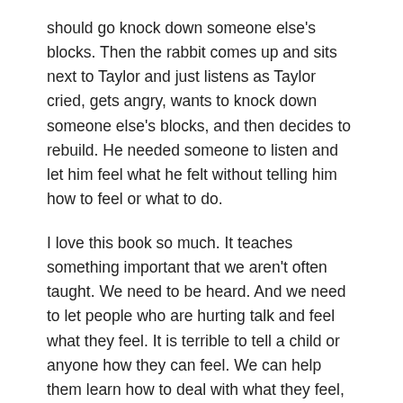should go knock down someone else's blocks. Then the rabbit comes up and sits next to Taylor and just listens as Taylor cried, gets angry, wants to knock down someone else's blocks, and then decides to rebuild. He needed someone to listen and let him feel what he felt without telling him how to feel or what to do.
I love this book so much. It teaches something important that we aren't often taught. We need to be heard. And we need to let people who are hurting talk and feel what they feel. It is terrible to tell a child or anyone how they can feel. We can help them learn how to deal with what they feel, but we feel what we feel. It's just the way it is. And when someone doesn't feel heard, it adds to the hurt and frustration. I think it even prolongs the pain. The power of feeling heard can make a person feel loved, valued, and respected. We can help children know they are heard by giving them our focused attention and by responding to what they've said with either a question or a restatement of what we heard to check for understanding, or just a nod or a hug to let them know